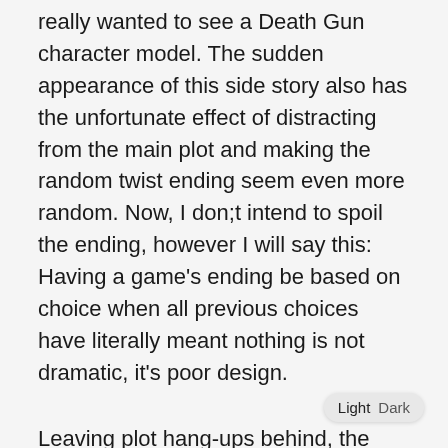really wanted to see a Death Gun character model. The sudden appearance of this side story also has the unfortunate effect of distracting from the main plot and making the random twist ending seem even more random. Now, I don;t intend to spoil the ending, however I will say this: Having a game's ending be based on choice when all previous choices have literally meant nothing is not dramatic, it's poor design.
Leaving plot hang-ups behind, the actual gameplay of Fatal Bullet is simple but fun. With a few choice gun types to choose from, players can build their character how they wish and fight a bevy of enemies who are only mostly palette swaps of the last group you fought. Not a major drawback, all things considered, although I will say it was slightly annoying when every character reacted in shock to a boss who was the third colour variant of an enemy. It really took the wind out of the. "We normally study an